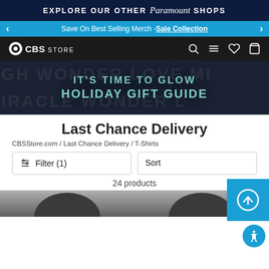EXPLORE OUR OTHER Paramount SHOPS
Save On Best Selling Merch - Sale Collection
[Figure (screenshot): CBS Store navigation bar with logo, search, menu, wishlist and cart icons]
[Figure (illustration): Hero banner: IT'S TIME TO GLOW HOLIDAY GIFT GUIDE on dark background with watermark text]
Last Chance Delivery
CBSStore.com / Last Chance Delivery / T-Shirts
Filter (1)   Sort
24 products
[Figure (photo): Partial product images of two t-shirts at bottom of page]